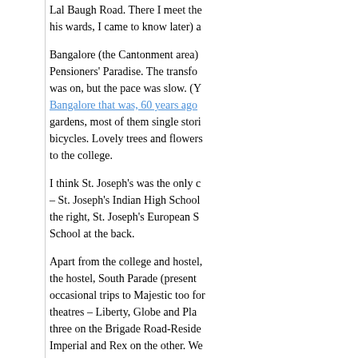Lal Baugh Road. There I meet the his wards, I came to know later) a
Bangalore (the Cantonment area) Pensioners' Paradise. The transfo was on, but the pace was slow. (Y Bangalore that was, 60 years ago gardens, most of them single stori bicycles. Lovely trees and flowers to the college.
I think St. Joseph's was the only c – St. Joseph's Indian High School the right, St. Joseph's European S School at the back.
Apart from the college and hostel, the hostel, South Parade (present occasional trips to Majestic too for theatres – Liberty, Globe and Pla three on the Brigade Road-Reside Imperial and Rex on the other. We Globe and Plaza by showing the c
The only restaurant we could go t on South Parade. Then came Par Koshy's on Brigade Road.
All activities came to a stop by ar